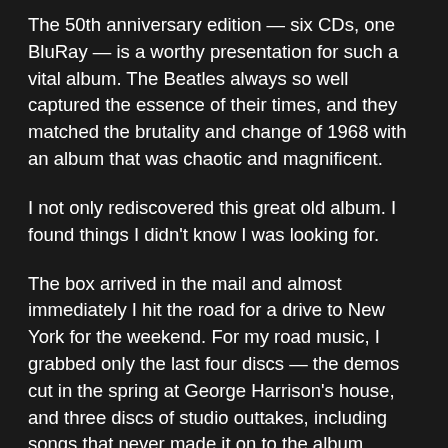The 50th anniversary edition — six CDs, one BluRay — is a worthy presentation for such a vital album. The Beatles always so well captured the essence of their times, and they matched the brutality and change of 1968 with an album that was chaotic and magnificent.
I not only rediscovered this great old album. I found things I didn't know I was looking for.
The box arrived in the mail and almost immediately I hit the road for a drive to New York for the weekend. For my road music, I grabbed only the last four discs — the demos cut in the spring at George Harrison's house, and three discs of studio outtakes, including songs that never made it on to the album, including 'Hey Jude,' 'Sour Milk Sea,' 'Child of Nature,' 'Across the Universe' and others.